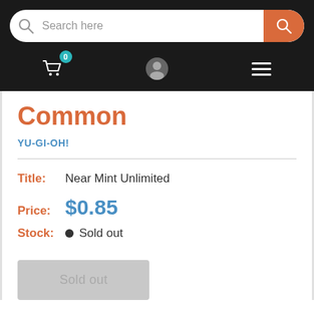Search here
Common
YU-GI-OH!
Title: Near Mint Unlimited
Price: $0.85
Stock: Sold out
Sold out